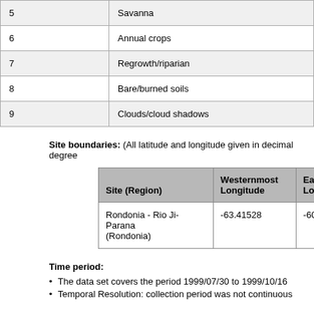|  |  |
| --- | --- |
| 5 | Savanna |
| 6 | Annual crops |
| 7 | Regrowth/riparian |
| 8 | Bare/burned soils |
| 9 | Clouds/cloud shadows |
Site boundaries: (All latitude and longitude given in decimal degree
| Site (Region) | Westernmost Longitude | Easternmost Longitude |
| --- | --- | --- |
| Rondonia - Rio Ji-Parana (Rondonia) | -63.41528 | -60.015 |
Time period:
The data set covers the period 1999/07/30 to 1999/10/16
Temporal Resolution: collection period was not continuous